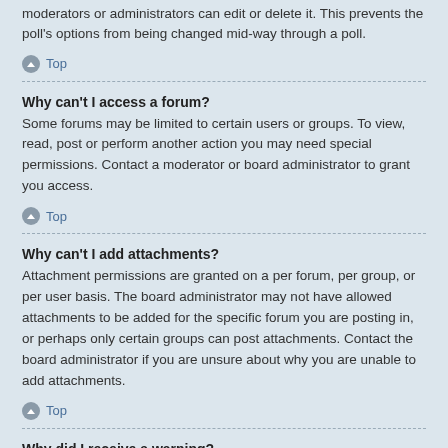moderators or administrators can edit or delete it. This prevents the poll's options from being changed mid-way through a poll.
↑ Top
Why can't I access a forum?
Some forums may be limited to certain users or groups. To view, read, post or perform another action you may need special permissions. Contact a moderator or board administrator to grant you access.
↑ Top
Why can't I add attachments?
Attachment permissions are granted on a per forum, per group, or per user basis. The board administrator may not have allowed attachments to be added for the specific forum you are posting in, or perhaps only certain groups can post attachments. Contact the board administrator if you are unsure about why you are unable to add attachments.
↑ Top
Why did I receive a warning?
Each board administrator has their own set of rules for their site. If you have broken a rule, you may be issued a warning. Please note that this is the board administrator's decision, and the phpBB Limited has nothing to do with the warnings on the given site. Contact the board administrator if you are unsure